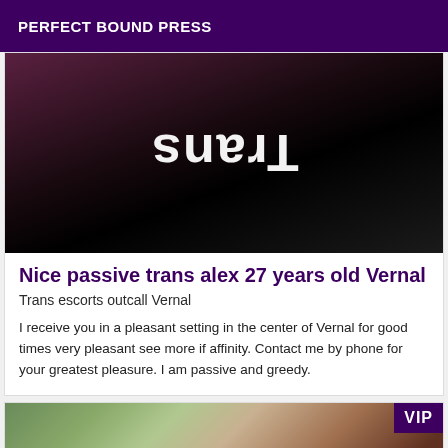PERFECT BOUND PRESS
[Figure (photo): Photo showing a black garment with white mirrored/flipped text reading 'Trans', photographed against a dark reddish-brown background]
Nice passive trans alex 27 years old Vernal
Trans escorts outcall Vernal
I receive you in a pleasant setting in the center of Vernal for good times very pleasant see more if affinity. Contact me by phone for your greatest pleasure. I am passive and greedy.
[Figure (photo): Partial photo of a person with a VIP badge overlay in the top right corner]